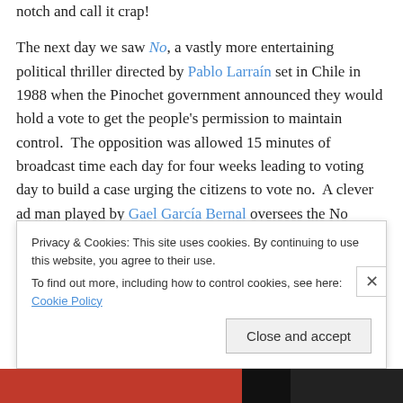notch and call it crap!
The next day we saw No, a vastly more entertaining political thriller directed by Pablo Larraín set in Chile in 1988 when the Pinochet government announced they would hold a vote to get the people's permission to maintain control.  The opposition was allowed 15 minutes of broadcast time each day for four weeks leading to voting day to build a case urging the citizens to vote no.  A clever  ad man played by Gael García Bernal oversees the No campaign.  Larraín intercut many of the actual campaign spots that were broadcast in 1988 within his film
Privacy & Cookies: This site uses cookies. By continuing to use this website, you agree to their use.
To find out more, including how to control cookies, see here: Cookie Policy